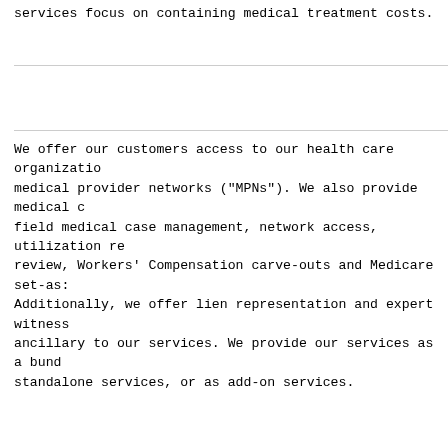services focus on containing medical treatment costs.
We offer our customers access to our health care organization medical provider networks ("MPNs"). We also provide medical field medical case management, network access, utilization review, Workers' Compensation carve-outs and Medicare set-asides. Additionally, we offer lien representation and expert witness ancillary to our services. We provide our services as a bundled, standalone services, or as add-on services.
Our core services focus on reducing medical treatment costs by allowing customers to share control over the medical treatment process, primarily obtained by participation in one of our medical treatment networks. We hold several government-issued licenses to operate medical treatment networks. Through Medex we hold two of a total of seven licenses issued by the state of California to establish and manage HCOs within the state of California. We hold approvals issued by the state of California to act as an MPN administrator and administer 26 MPNs. Our HCO and MPN programs provide our customers with networks within which our customers have some ability to direct the administration of employee claims. This is designed to decrease...